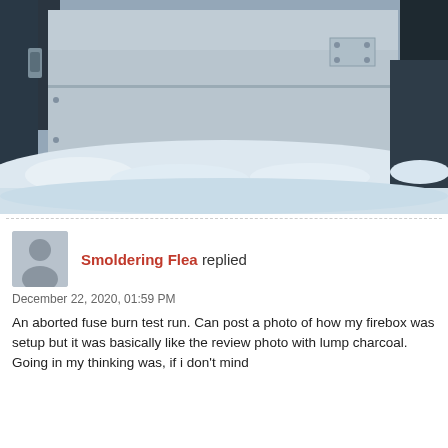[Figure (photo): A metal firebox or smoker sitting in snow, photographed outdoors. The box is silver/metallic with visible screws and a panel. Snow surrounds the base. A dark structure is partially visible on the left.]
Smoldering Flea replied
December 22, 2020, 01:59 PM
An aborted fuse burn test run. Can post a photo of how my firebox was setup but it was basically like the review photo with lump charcoal. Going in my thinking was, if i don't mind